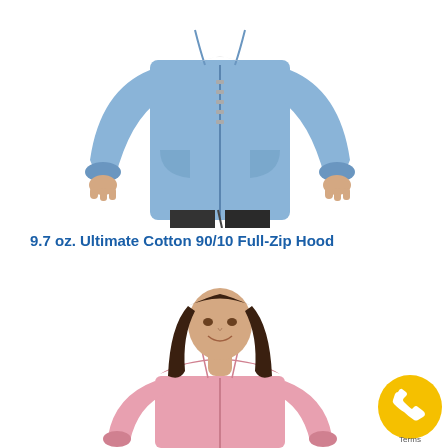[Figure (photo): Man wearing a light blue full-zip hoodie sweatshirt, shown from chest down with hands at sides, wearing dark jeans.]
9.7 oz. Ultimate Cotton 90/10 Full-Zip Hood
[Figure (photo): Young woman smiling, wearing a pink full-zip hoodie sweatshirt.]
[Figure (other): Yellow circular phone/call button badge with a phone handset icon, with 'Terms' text below.]